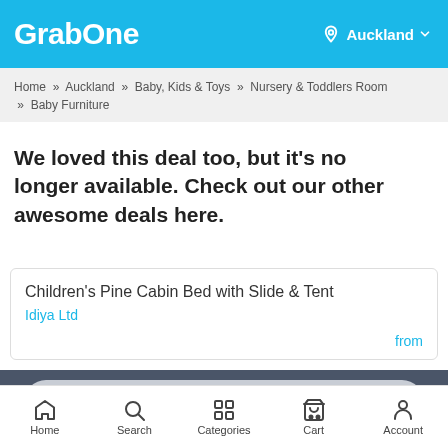GrabOne — Auckland
Home » Auckland » Baby, Kids & Toys » Nursery & Toddlers Room » Baby Furniture
We loved this deal too, but it's no longer available. Check out our other awesome deals here.
Children's Pine Cabin Bed with Slide & Tent
Idiya Ltd
from
No longer available
Home  Search  Categories  Cart  Account